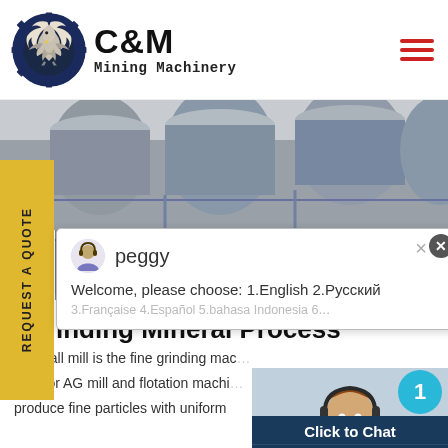[Figure (logo): C&M Mining Machinery logo with eagle in gear circle, dark navy blue]
[Figure (photo): Industrial ball mill machinery photo - grey metal containers]
REQUEST A QUOTE
[Figure (screenshot): Live chat popup with avatar named peggy. Message: Welcome, please choose: 1.English 2.Русский 3.Française 4.Español 5.bahasa Indonesia 6...]
[Figure (photo): C&M Mining Machinery facility with equipment, green/yellow colors]
Grinding Mineral Process
The ball mill is the fine grinding machine
SAG or AG mill and flotation machine
produce fine particles with uniform
[Figure (photo): Female customer service agent wearing headset, smiling, with teal notification badge showing '1']
Click to Chat
Enquiry